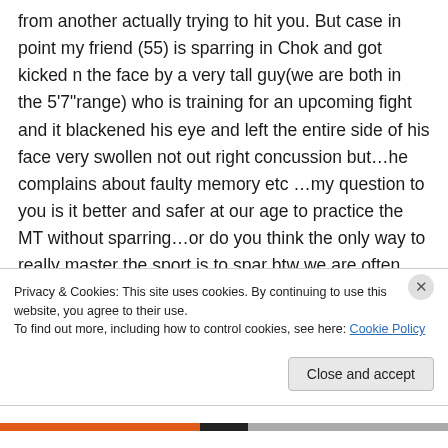from another actually trying to hit you. But case in point my friend (55) is sparring in Chok and got kicked n the face by a very tall guy(we are both in the 5'7"range) who is training for an upcoming fight and it blackened his eye and left the entire side of his face very swollen not out right concussion but…he complains about faulty memory etc …my question to you is it better and safer at our age to practice the MT without sparring…or do you think the only way to really master the sport is to spar  btw  we are often
Privacy & Cookies: This site uses cookies. By continuing to use this website, you agree to their use.
To find out more, including how to control cookies, see here: Cookie Policy